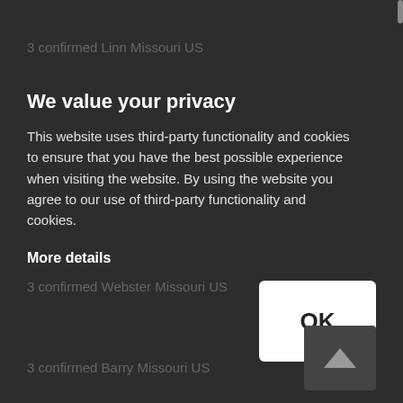3 confirmed Linn Missouri US
We value your privacy
This website uses third-party functionality and cookies to ensure that you have the best possible experience when visiting the website. By using the website you agree to our use of third-party functionality and cookies.
3 confirmed Vernon Missouri US
More details
3 confirmed Webster Missouri US
OK
3 confirmed Barry Missouri US